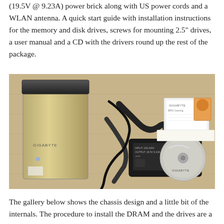(19.5V @ 9.23A) power brick along with US power cords and a WLAN antenna. A quick start guide with installation instructions for the memory and disk drives, screws for mounting 2.5" drives, a user manual and a CD with the drivers round up the rest of the package.
[Figure (photo): Photo of a Gigabyte BRIX or similar small form factor PC chassis (gold/silver tower) on a wooden surface, alongside a large black power brick, power cords, a CD disk, and documentation/manuals.]
The gallery below shows the chassis design and a little bit of the internals. The procedure to install the DRAM and the drives are a